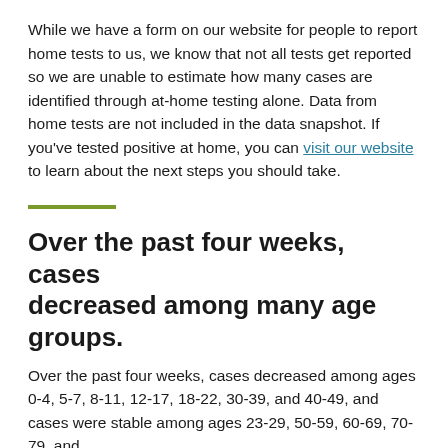While we have a form on our website for people to report home tests to us, we know that not all tests get reported so we are unable to estimate how many cases are identified through at-home testing alone. Data from home tests are not included in the data snapshot. If you've tested positive at home, you can visit our website to learn about the next steps you should take.
Over the past four weeks, cases decreased among many age groups.
Over the past four weeks, cases decreased among ages 0-4, 5-7, 8-11, 12-17, 18-22, 30-39, and 40-49, and cases were stable among ages 23-29, 50-59, 60-69, 70-79, and